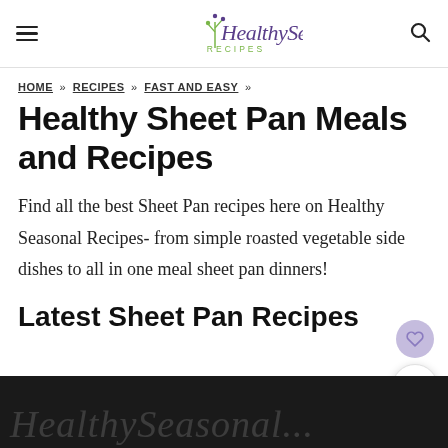Healthy Seasonal Recipes
HOME » RECIPES » FAST AND EASY »
Healthy Sheet Pan Meals and Recipes
Find all the best Sheet Pan recipes here on Healthy Seasonal Recipes- from simple roasted vegetable side dishes to all in one meal sheet pan dinners!
Latest Sheet Pan Recipes